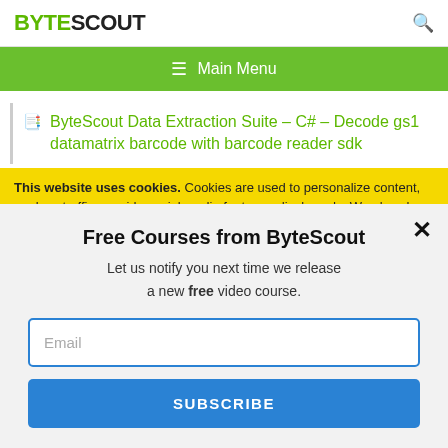BYTESCOUT
≡  Main Menu
ByteScout Data Extraction Suite – C# – Decode gs1 datamatrix barcode with barcode reader sdk
This website uses cookies. Cookies are used to personalize content, analyze traffic, provide social media features, display ads. We also share
Free Courses from ByteScout
Let us notify you next time we release a new free video course.
Email
SUBSCRIBE